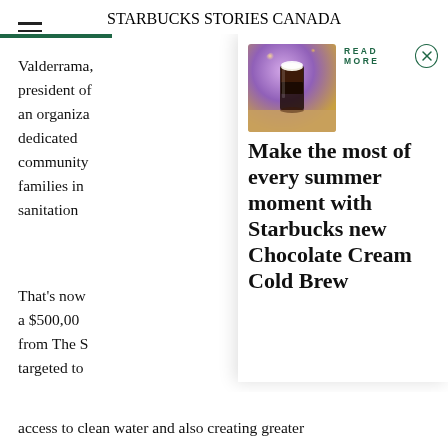STARBUCKS STORIES CANADA
Valderrama, president of an organization dedicated to community families in sanitation
[Figure (photo): Iced cold brew drink in a tall glass on a wooden surface with purple/golden bokeh background]
READ MORE
Make the most of every summer moment with Starbucks new Chocolate Cream Cold Brew
That's now a $500,00 from The S targeted to access to clean water and also creating greater